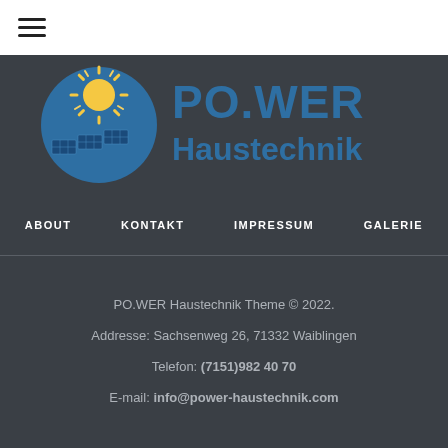[Figure (logo): PO.WER Haustechnik logo with sun and solar panels icon and text 'PO.WER Haustechnik' on dark background]
ABOUT   KONTAKT   IMPRESSUM   GALERIE
PO.WER Haustechnik Theme © 2022.
Addresse: Sachsenweg 26, 71332 Waiblingen
Telefon: (7151)982 40 70
E-mail: info@power-haustechnik.com